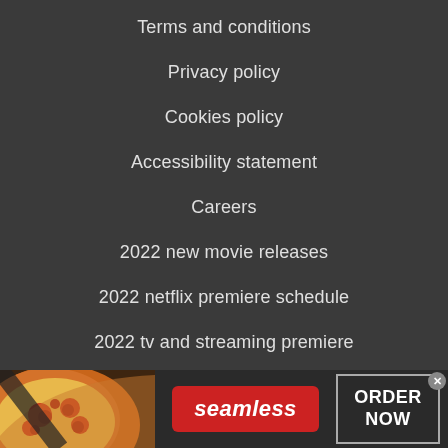Terms and conditions
Privacy policy
Cookies policy
Accessibility statement
Careers
2022 new movie releases
2022 netflix premiere schedule
2022 tv and streaming premiere
[Figure (screenshot): Advertisement banner for Seamless food ordering service, showing pizza image on the left, Seamless logo in red in the center, and ORDER NOW button on the right with a close (x) button in the top right corner.]